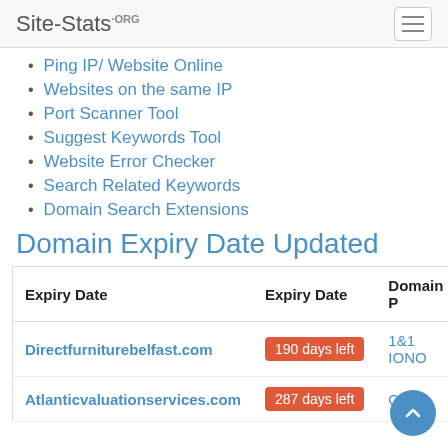Site-Stats.ORG
Ping IP/ Website Online
Websites on the same IP
Port Scanner Tool
Suggest Keywords Tool
Website Error Checker
Search Related Keywords
Domain Search Extensions
Domain Expiry Date Updated
| Expiry Date | Expiry Date | Domain P |
| --- | --- | --- |
| Directfurniturebelfast.com | 190 days left | 1&1 IONO |
| Atlanticvaluationservices.com | 287 days left | Go... |